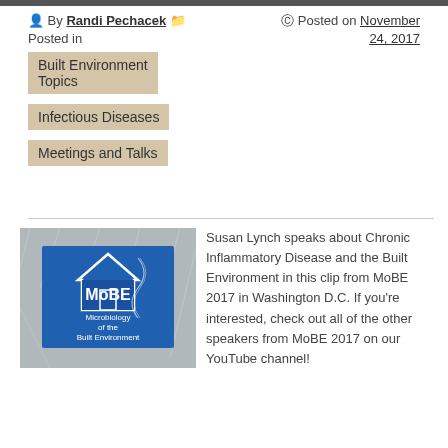By Randi Pechacek  Posted in
Posted on November 24, 2017
Built Environment Topics
Infectious Diseases
Meetings and Talks
[Figure (photo): MoBE banner sign reading 'MoBE Microbiology of the Built Environment']
Susan Lynch speaks about Chronic Inflammatory Disease and the Built Environment in this clip from MoBE 2017 in Washington D.C. If you’re interested, check out all of the other speakers from MoBE 2017 on our YouTube channel!